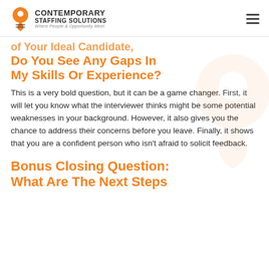Contemporary Staffing Solutions — Where People & Opportunity Meet
of Your Ideal Candidate, Do You See Any Gaps In My Skills Or Experience?
This is a very bold question, but it can be a game changer. First, it will let you know what the interviewer thinks might be some potential weaknesses in your background. However, it also gives you the chance to address their concerns before you leave. Finally, it shows that you are a confident person who isn’t afraid to solicit feedback.
Bonus Closing Question: What Are The Next Steps